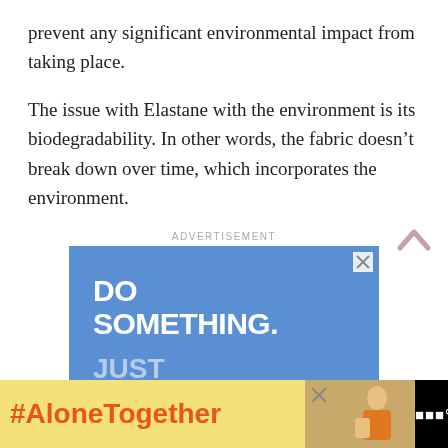prevent any significant environmental impact from taking place.
The issue with Elastane with the environment is its biodegradability. In other words, the fabric doesn’t break down over time, which incorporates the environment.
ADVERTISEMENT
[Figure (screenshot): Blue advertisement banner with bold white text reading 'DO SOMETHING.' and lighter text 'JUST SIT THERE' below, with a close button in the top right corner.]
[Figure (screenshot): Bottom banner advertisement with black background, yellow section showing '#AloneTogether' in orange bold text, a photo of a woman, and a close button.]